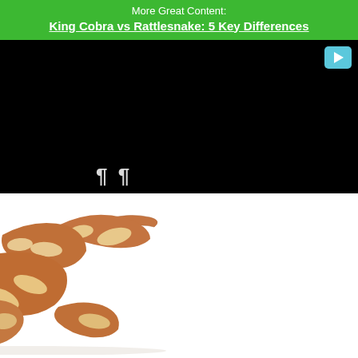More Great Content:
King Cobra vs Rattlesnake: 5 Key Differences
[Figure (photo): Black video player area with a teal play button icon in the top right corner and partial bold text visible at the bottom left]
[Figure (photo): A copperhead snake coiled on a white background, showing its distinctive red-brown body with lighter beige banding pattern and visible head with eyes]
Copperheads carry a distinctive red-brown color